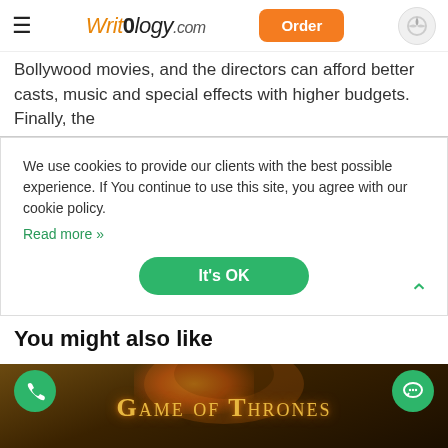WritOlogy.com | Order
Bollywood movies, and the directors can afford better casts, music and special effects with higher budgets. Finally, the
We use cookies to provide our clients with the best possible experience. If You continue to use this site, you agree with our cookie policy. Read more »  [It's OK button]
You might also like
[Figure (photo): Game of Thrones title card with golden text on dark ornate background]